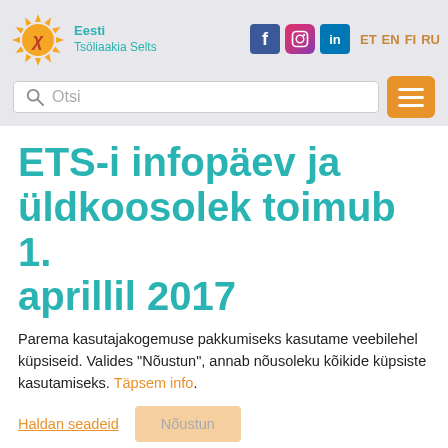Eesti Tsöliaakia Selts — ET EN FI RU
ETS-i infopäev ja üldkoosolek toimub 1. aprillil 2017
Parema kasutajakogemuse pakkumiseks kasutame veebilehel küpsiseid. Valides "Nõustun", annab nõusoleku kõikide küpsiste kasutamiseks. Täpsem info.
Haldan seadeid  Nõustun